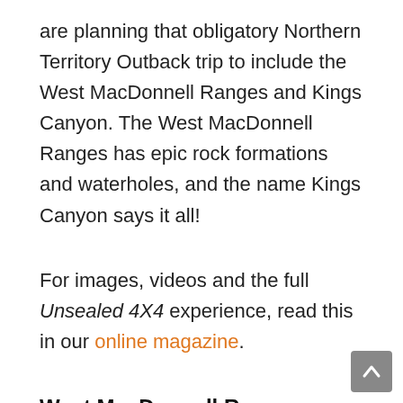are planning that obligatory Northern Territory Outback trip to include the West MacDonnell Ranges and Kings Canyon. The West MacDonnell Ranges has epic rock formations and waterholes, and the name Kings Canyon says it all!
For images, videos and the full Unsealed 4X4 experience, read this in our online magazine.
West MacDonnell Ranges
The MacDonnell Ranges run for 644km; east and west of Alice Springs. The western side is the